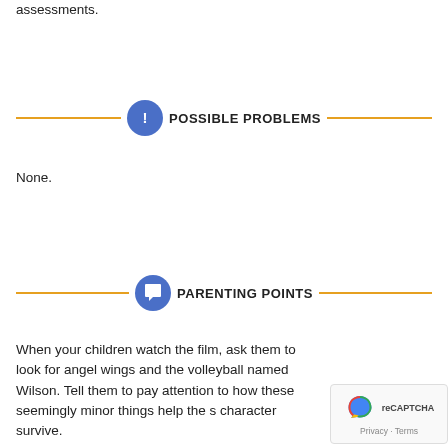assessments.
POSSIBLE PROBLEMS
None.
PARENTING POINTS
When your children watch the film, ask them to look for angel wings and the volleyball named Wilson. Tell them to pay attention to how these seemingly minor things help the s[main] character survive.